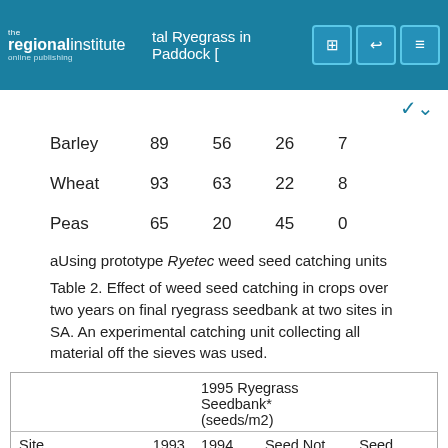the regionalinstitute online publishing — Skeletal Ryegrass in Paddock [...]
|  |  |  |  |  |
| --- | --- | --- | --- | --- |
| Barley | 89 | 56 | 26 | 7 |
| Wheat | 93 | 63 | 22 | 8 |
| Peas | 65 | 20 | 45 | 0 |
aUsing prototype Ryetec weed seed catching units
Table 2. Effect of weed seed catching in crops over two years on final ryegrass seedbank at two sites in SA. An experimental catching unit collecting all material off the sieves was used.
| Site | 1993 Crop | 1994 Crop | Seed Not Caught | Seed Caught |
| --- | --- | --- | --- | --- |
| Roseworthy | Barley | Peas | 5262a | 1842b |